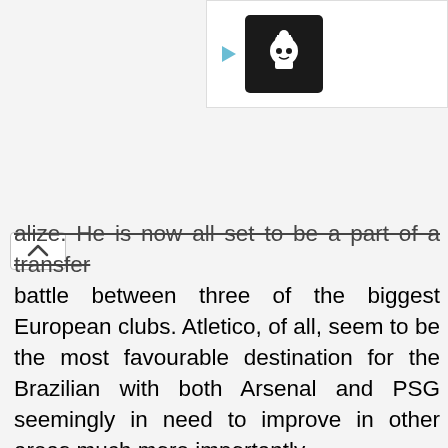[Figure (advertisement): Top right ad banner with play button icon and dark logo box with chef/skull icon on black background]
alize. He is now all set to be a part of a transfer battle between three of the biggest European clubs. Atletico, of all, seem to be the most favourable destination for the Brazilian with both Arsenal and PSG seemingly in need to improve in other areas much more importantly.
[Figure (advertisement): OrCam advertisement showing OrCam MyEye device - Special Offer! OrCam MyEye for People with Low Vision, with image of glasses with OrCam device attached]